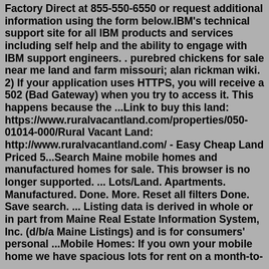Factory Direct at 855-550-6550 or request additional information using the form below.IBM's technical support site for all IBM products and services including self help and the ability to engage with IBM support engineers. . purebred chickens for sale near me land and farm missouri; alan rickman wiki. 2) If your application uses HTTPS, you will receive a 502 (Bad Gateway) when you try to access it. This happens because the ...Link to buy this land: https://www.ruralvacantland.com/properties/050-01014-000/Rural Vacant Land: http://www.ruralvacantland.com/ - Easy Cheap Land Priced 5...Search Maine mobile homes and manufactured homes for sale. This browser is no longer supported. ... Lots/Land. Apartments. Manufactured. Done. More. Reset all filters Done. Save search. ... Listing data is derived in whole or in part from Maine Real Estate Information System, Inc. (d/b/a Maine Listings) and is for consumers' personal ...Mobile Homes: If you own your mobile home we have spacious lots for rent on a month-to-